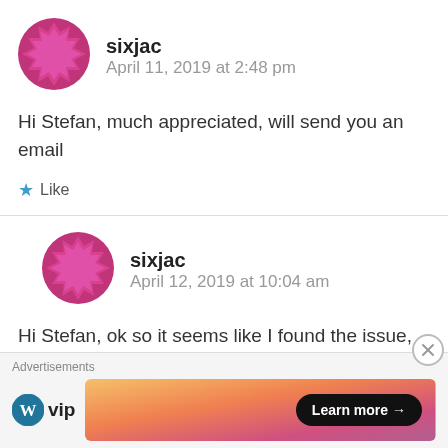sixjac — April 11, 2019 at 2:48 pm
Hi Stefan, much appreciated, will send you an email
Like
sixjac — April 12, 2019 at 10:04 am
Hi Stefan, ok so it seems like I found the issue, basically NBXplorer (.NETCore app) created a folder on startup for database creation, this was
Advertisements
[Figure (logo): WordPress VIP logo with circular W icon and 'vip' text]
[Figure (infographic): Gradient orange-pink advertisement banner with 'Learn more' button]